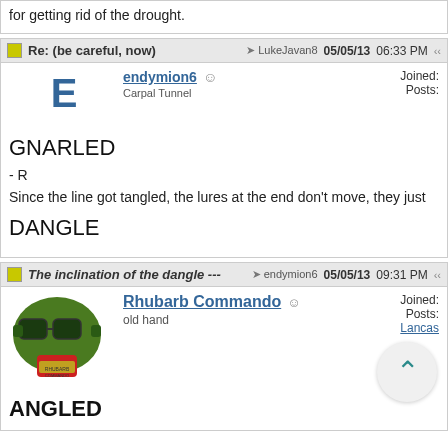for getting rid of the drought.
Re: (be careful, now)  → LukeJavan8  05/05/13 06:33 PM
endymion6
Carpal Tunnel
Joined:
Posts:
GNARLED
- R
Since the line got tangled, the lures at the end don't move, they just
DANGLE
The inclination of the dangle ---  → endymion6  05/05/13 09:31 PM
Rhubarb Commando
old hand
Joined:
Posts:
Lancas
ANGLED